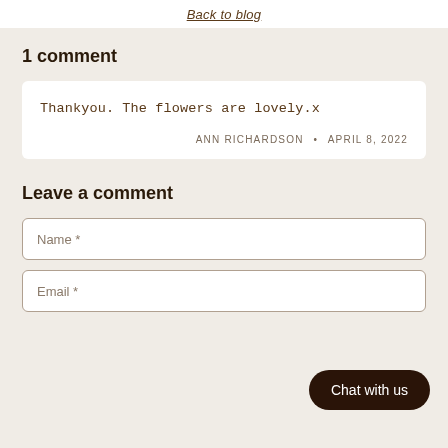Back to blog
1 comment
Thankyou. The flowers are lovely.x
ANN RICHARDSON • APRIL 8, 2022
Leave a comment
Name *
Email *
Chat with us